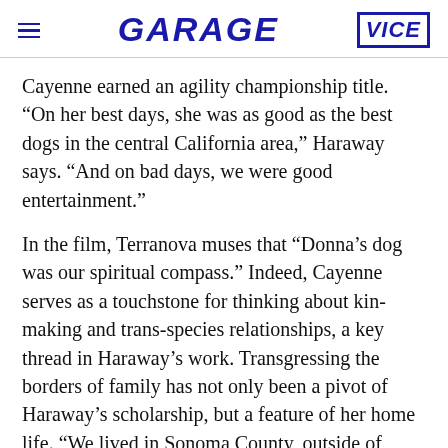GARAGE | VICE
Cayenne earned an agility championship title. “On her best days, she was as good as the best dogs in the central California area,” Haraway says. “And on bad days, we were good entertainment.”
In the film, Terranova muses that “Donna’s dog was our spiritual compass.” Indeed, Cayenne serves as a touchstone for thinking about kin-making and trans-species relationships, a key thread in Haraway’s work. Transgressing the borders of family has not only been a pivot of Haraway’s scholarship, but a feature of her home life. “We lived in Sonoma County, outside of Healdsburg, in a house that began as a kind of commune,” she says. Living in the house